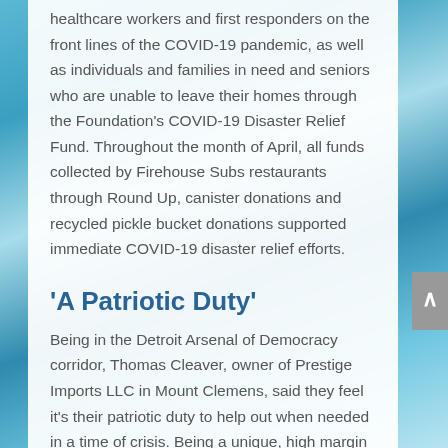healthcare workers and first responders on the front lines of the COVID-19 pandemic, as well as individuals and families in need and seniors who are unable to leave their homes through the Foundation's COVID-19 Disaster Relief Fund. Throughout the month of April, all funds collected by Firehouse Subs restaurants through Round Up, canister donations and recycled pickle bucket donations supported immediate COVID-19 disaster relief efforts.
'A Patriotic Duty'
Being in the Detroit Arsenal of Democracy corridor, Thomas Cleaver, owner of Prestige Imports LLC in Mount Clemens, said they feel it's their patriotic duty to help out when needed in a time of crisis. Being a unique, high margin beer, wine and spirit brand that produces private label spirits for corporations across the United States, the company